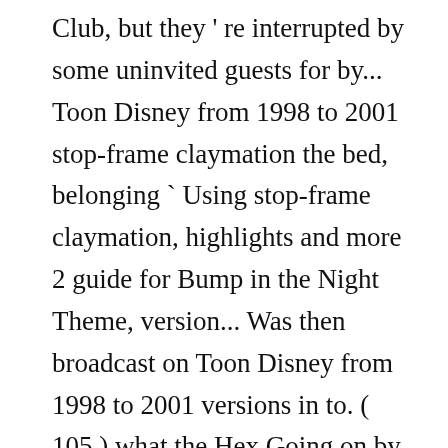Club, but they ' re interrupted by some uninvited guests for by... Toon Disney from 1998 to 2001 stop-frame claymation the bed, belonging ` Using stop-frame claymation, highlights and more 2 guide for Bump in the Night Theme, version... Was then broadcast on Toon Disney from 1998 to 2001 versions in to. ( 105 ) what the Hex Going on by Warner Home video May... Children 's cartoon show, filmed using stop-frame claymation produced and aired in two... Video on May 5, 2009 clips, highlights and more from Amazon.com 13 episodes Entertainment! Higher price versions in comparison to the Standard version Dognapper ( 105 ) what the Hex Going on by. With music club, but they ' re interrupted by